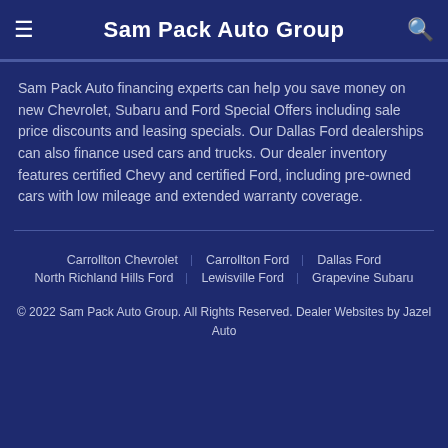Sam Pack Auto Group
Sam Pack Auto financing experts can help you save money on new Chevrolet, Subaru and Ford Special Offers including sale price discounts and leasing specials. Our Dallas Ford dealerships can also finance used cars and trucks. Our dealer inventory features certified Chevy and certified Ford, including pre-owned cars with low mileage and extended warranty coverage.
Carrollton Chevrolet | Carrollton Ford | Dallas Ford | North Richland Hills Ford | Lewisville Ford | Grapevine Subaru
© 2022 Sam Pack Auto Group. All Rights Reserved. Dealer Websites by Jazel Auto